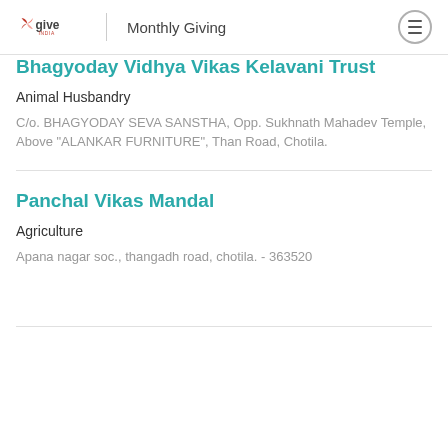give India | Monthly Giving
Bhagyoday Vidhya Vikas Kelavani Trust
Animal Husbandry
C/o. BHAGYODAY SEVA SANSTHA, Opp. Sukhnath Mahadev Temple, Above "ALANKAR FURNITURE", Than Road, Chotila.
Panchal Vikas Mandal
Agriculture
Apana nagar soc., thangadh road, chotila. - 363520